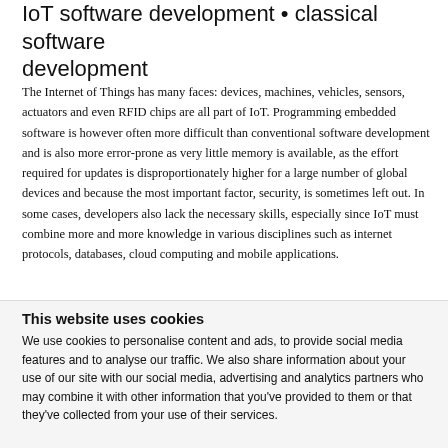IoT software development • classical software development
The Internet of Things has many faces: devices, machines, vehicles, sensors, actuators and even RFID chips are all part of IoT. Programming embedded software is however often more difficult than conventional software development and is also more error-prone as very little memory is available, as the effort required for updates is disproportionately higher for a large number of global devices and because the most important factor, security, is sometimes left out. In some cases, developers also lack the necessary skills, especially since IoT must combine more and more knowledge in various disciplines such as internet protocols, databases, cloud computing and mobile applications.
This shows how complex IoT software development is. IT managers and IoT software developers should therefore be prepared accordingly. The
This website uses cookies
We use cookies to personalise content and ads, to provide social media features and to analyse our traffic. We also share information about your use of our site with our social media, advertising and analytics partners who may combine it with other information that you've provided to them or that they've collected from your use of their services.